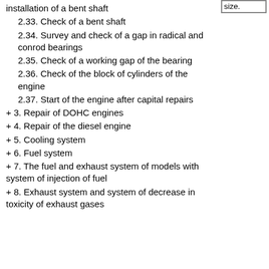[Figure (other): Box with partial text 'size.' visible at top right]
installation of a bent shaft
2.33. Check of a bent shaft
2.34. Survey and check of a gap in radical and conrod bearings
2.35. Check of a working gap of the bearing
2.36. Check of the block of cylinders of the engine
2.37. Start of the engine after capital repairs
+ 3. Repair of DOHC engines
+ 4. Repair of the diesel engine
+ 5. Cooling system
+ 6. Fuel system
+ 7. The fuel and exhaust system of models with system of injection of fuel
+ 8. Exhaust system and system of decrease in toxicity of exhaust gases